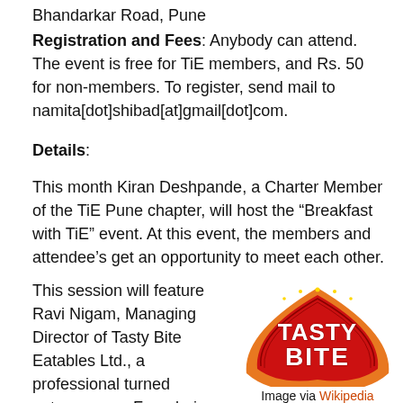Bhandarkar Road, Pune
Registration and Fees: Anybody can attend. The event is free for TiE members, and Rs. 50 for non-members. To register, send mail to namita[dot]shibad[at]gmail[dot]com.
Details:
This month Kiran Deshpande, a Charter Member of the TiE Pune chapter, will host the “Breakfast with TiE” event. At this event, the members and attendee’s get an opportunity to meet each other.
This session will feature Ravi Nigam, Managing Director of Tasty Bite Eatables Ltd., a professional turned entrepreneur. From being
[Figure (logo): Tasty Bite logo - red curved banner with white text reading TASTY BITE with TM symbol, orange background]
Image via Wikipedia